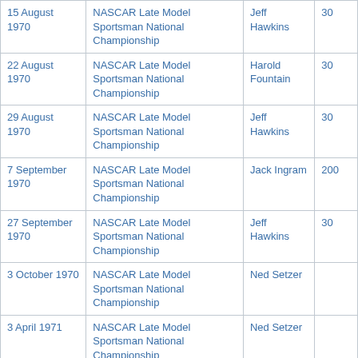| Date | Series | Winner | Laps |
| --- | --- | --- | --- |
| 15 August 1970 | NASCAR Late Model Sportsman National Championship | Jeff Hawkins | 30 |
| 22 August 1970 | NASCAR Late Model Sportsman National Championship | Harold Fountain | 30 |
| 29 August 1970 | NASCAR Late Model Sportsman National Championship | Jeff Hawkins | 30 |
| 7 September 1970 | NASCAR Late Model Sportsman National Championship | Jack Ingram | 200 |
| 27 September 1970 | NASCAR Late Model Sportsman National Championship | Jeff Hawkins | 30 |
| 3 October 1970 | NASCAR Late Model Sportsman National Championship | Ned Setzer |  |
| 3 April 1971 | NASCAR Late Model Sportsman National Championship | Ned Setzer |  |
| 10 April 1971 | NASCAR Winston Cup Series | Bobby Isaac | 200 |
|  | NASCAR Late Model |  |  |